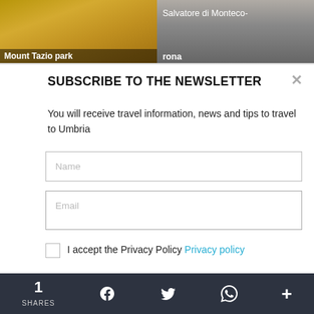[Figure (photo): Top image strip showing two thumbnail images: left is a golden field (Mount Tazio park), right is a stone building facade (Salvatore di Montecorona)]
SUBSCRIBE TO THE NEWSLETTER
You will receive travel information, news and tips to travel to Umbria
Name
Email
I accept the Privacy Policy Privacy policy
SIGN UP
1 SHARES